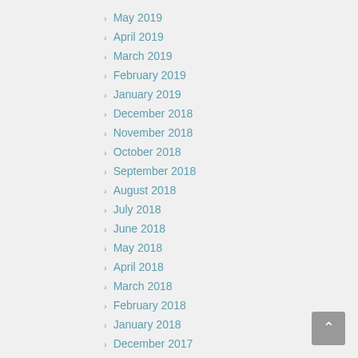May 2019
April 2019
March 2019
February 2019
January 2019
December 2018
November 2018
October 2018
September 2018
August 2018
July 2018
June 2018
May 2018
April 2018
March 2018
February 2018
January 2018
December 2017
November 2017
October 2017
September 2017
August 2017